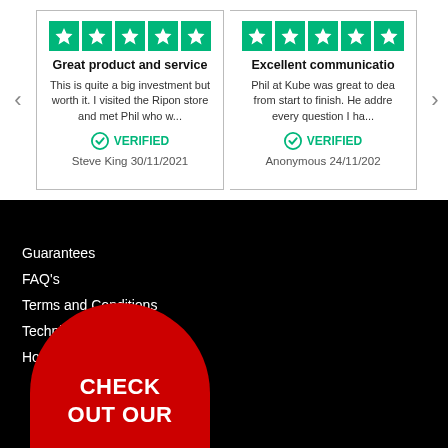Great product and service — This is quite a big investment but worth it. I visited the Ripon store and met Phil who w... VERIFIED Steve King 30/11/2021
Excellent communicatio — Phil at Kube was great to dea from start to finish. He addre every question I ha... VERIFIED Anonymous 24/11/202
Guarantees
FAQ's
Terms and Conditions
Technical
How to Buy
[Figure (illustration): Red semi-circular badge with white text reading CHECK OUT OUR]